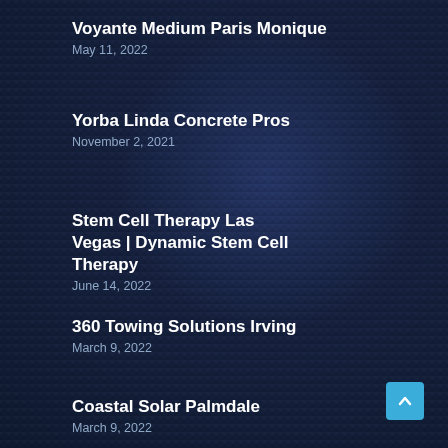Voyante Medium Paris Monique
May 11, 2022
Yorba Linda Concrete Pros
November 2, 2021
Stem Cell Therapy Las Vegas | Dynamic Stem Cell Therapy
June 14, 2022
360 Towing Solutions Irving
March 9, 2022
Coastal Solar Palmdale
March 9, 2022